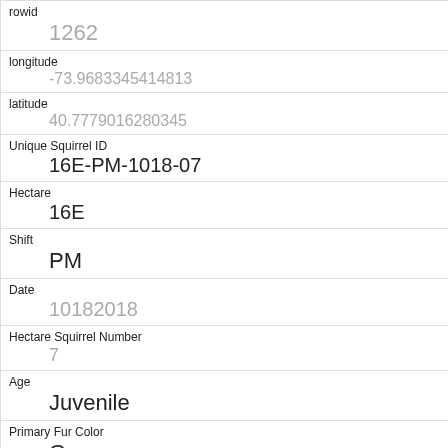| Field | Value |
| --- | --- |
| rowid | 1262 |
| longitude | -73.9683345414813 |
| latitude | 40.7779016280345 |
| Unique Squirrel ID | 16E-PM-1018-07 |
| Hectare | 16E |
| Shift | PM |
| Date | 10182018 |
| Hectare Squirrel Number | 7 |
| Age | Juvenile |
| Primary Fur Color | Gray |
| Highlight Fur Color |  |